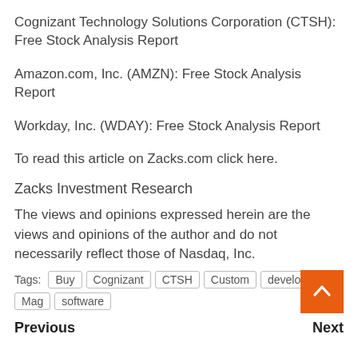Cognizant Technology Solutions Corporation (CTSH): Free Stock Analysis Report
Amazon.com, Inc. (AMZN): Free Stock Analysis Report
Workday, Inc. (WDAY): Free Stock Analysis Report
To read this article on Zacks.com click here.
Zacks Investment Research
The views and opinions expressed herein are the views and opinions of the author and do not necessarily reflect those of Nasdaq, Inc.
Tags: Buy  Cognizant  CTSH  Custom  developer  Mag  software
Previous    Next